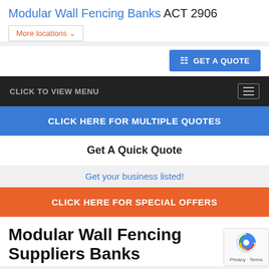Modular Wall Fencing Banks ACT 2906
More locations
GET A QUOTE
CLICK TO VIEW MENU
CLICK HERE FOR MULTIPLE QUOTES
Get A Quick Quote
Get your business listed!
CLICK HERE FOR SPECIAL OFFERS
Modular Wall Fencing Suppliers Banks